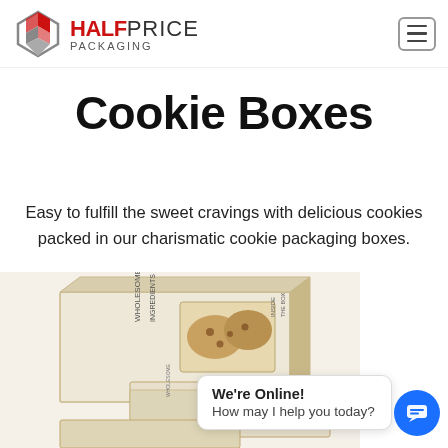[Figure (logo): Half Price Packaging logo with red and gray geometric box icon, 'HALF' in red bold, 'PRICE' in gray, 'PACKAGING' below in small caps]
[Figure (other): Hamburger menu button icon, three horizontal lines in a rounded rectangle border]
Cookie Boxes
Easy to fulfill the sweet cravings with delicious cookies packed in our charismatic cookie packaging boxes.
[Figure (photo): Beige/kraft cookie packaging boxes showing 'Wholesome Ingredients' and 'Inside the Box' labels with cookies visible through window]
[Figure (other): Live chat widget popup showing 'We're Online! How may I help you today?' with blue circular chat icon]